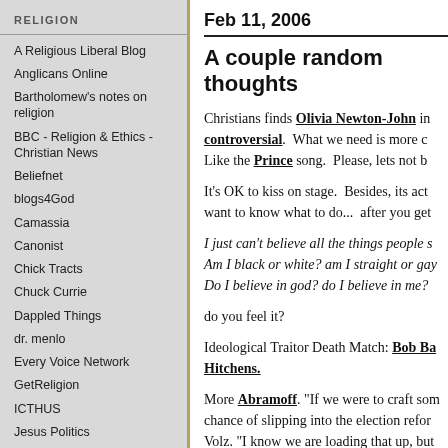RELIGION
A Religious Liberal Blog
Anglicans Online
Bartholomew's notes on religion
BBC - Religion & Ethics - Christian News
Beliefnet
blogs4God
Camassia
Canonist
Chick Tracts
Chuck Currie
Dappled Things
dr. menlo
Every Voice Network
GetReligion
ICTHUS
Jesus Politics
Killing The Buddha
Landover Baptist
Mainstream Baptist
Pontifications
Feb 11, 2006
A couple random thoughts
Christians finds Olivia Newton-John in controversial. What we need is more c... Like the Prince song. Please, lets not b...
It's OK to kiss on stage. Besides, its act... want to know what to do... after you get...
I just can't believe all the things people s... Am I black or white? am I straight or gay... Do I believe in god? do I believe in me?
do you feel it?
Ideological Traitor Death Match: Bob Ba... Hitchens.
More Abramoff. "If we were to craft som... chance of slipping into the election refor... Volz. "I know we are loading that up, but...
Feb 11, 2006 in Culture, Current Affairs, Music, F... Comments (1) | TrackBack (0)